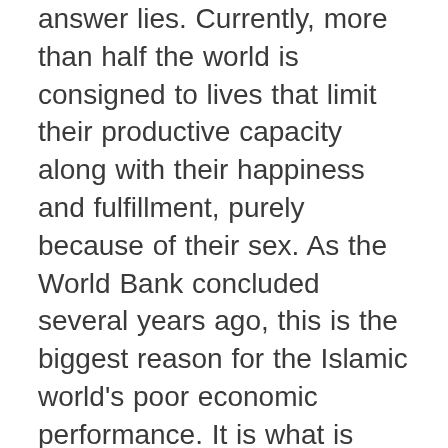answer lies. Currently, more than half the world is consigned to lives that limit their productive capacity along with their happiness and fulfillment, purely because of their sex. As the World Bank concluded several years ago, this is the biggest reason for the Islamic world's poor economic performance. It is what is holding back Africa, the continent growing the fastest in the 21st Century, and India, which will be the century's largest nation. Expanding education and entrepreneurship for women in these regions is probably the single biggest change that could unleash global growth, stabilize dangerous societies, and relieve global population and environmental pressures, and (incidentally)